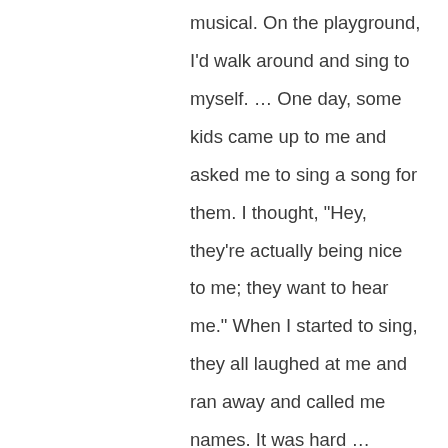musical. On the playground, I'd walk around and sing to myself. … One day, some kids came up to me and asked me to sing a song for them. I thought, "Hey, they're actually being nice to me; they want to hear me." When I started to sing, they all laughed at me and ran away and called me names. It was hard … I've always been able to talk to my parents about anything. I remember